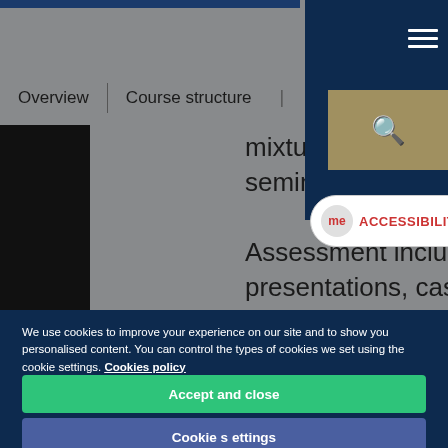Overview | Course structure
mixture of classroom, practical work, workshop seminars.
Assessment includes assignments, reports, presentations, case studies
[Figure (logo): University starburst logo on dark navy background]
[Figure (other): Accessibility badge with 'me ACCESSIBILITY' text]
We use cookies to improve your experience on our site and to show you personalised content. You can control the types of cookies we set using the cookie settings. Cookies policy
Accept and close
Cookie settings